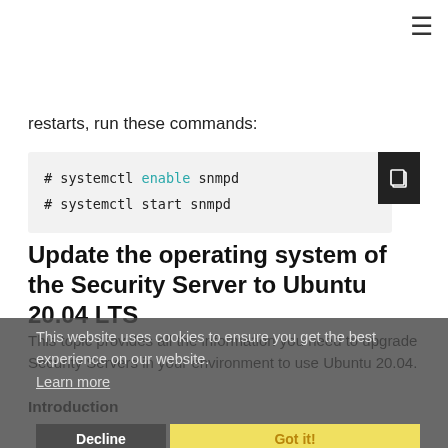≡
restarts, run these commands:
# systemctl enable snmpd
# systemctl start snmpd
Update the operating system of the Security Server to Ubuntu 20.04 LTS
This topic provides all the information you need to upgrade Security Servers in your environment to use Ubuntu 20.04.
Introduction
Why updating the OS of the Security Server?
Security. Currently, Security Server relies on Ubuntu 16.04 LTS, which becomes officially EOL on April 30th, 2021. This means it will stop receiving critical fixes and
This website uses cookies to ensure you get the best experience on our website. Learn more
Decline  Got it!